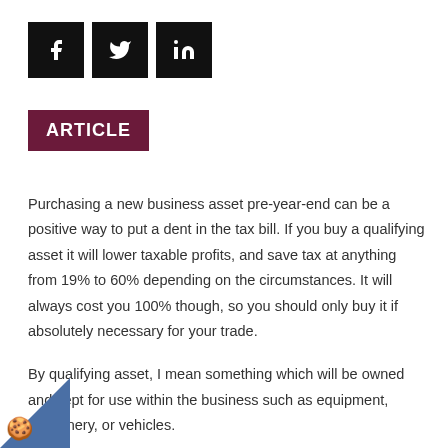[Figure (other): Three social media icon buttons: Facebook (f), Twitter (bird), LinkedIn (in), each in a black square]
ARTICLE
Purchasing a new business asset pre-year-end can be a positive way to put a dent in the tax bill. If you buy a qualifying asset it will lower taxable profits, and save tax at anything from 19% to 60% depending on the circumstances. It will always cost you 100% though, so you should only buy it if absolutely necessary for your trade.
By qualifying asset, I mean something which will be owned and kept for use within the business such as equipment, machinery, or vehicles.